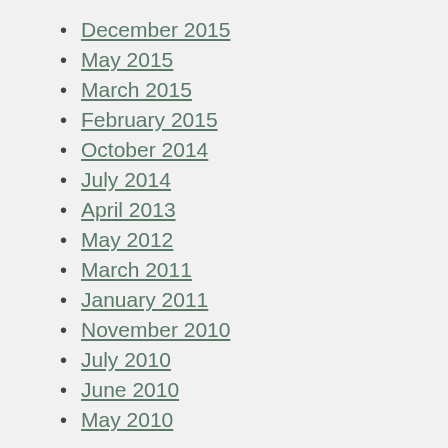December 2015
May 2015
March 2015
February 2015
October 2014
July 2014
April 2013
May 2012
March 2011
January 2011
November 2010
July 2010
June 2010
May 2010